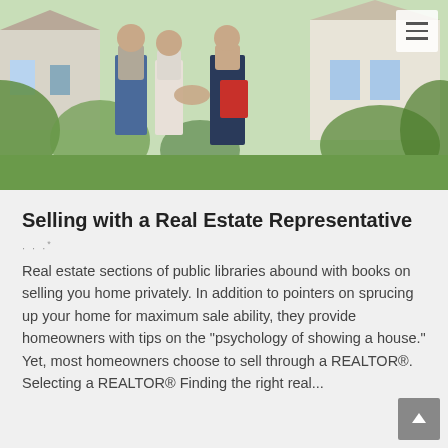[Figure (photo): A real estate agent shaking hands with a couple in front of a house. The agent is wearing a dark suit and holding a red folder. The couple is casually dressed. Green landscaping and a white house are visible in the background.]
Selling with a Real Estate Representative
Real estate sections of public libraries abound with books on selling you home privately. In addition to pointers on sprucing up your home for maximum sale ability, they provide homeowners with tips on the “psychology of showing a house.” Yet, most homeowners choose to sell through a REALTOR®. Selecting a REALTOR® Finding the right real...